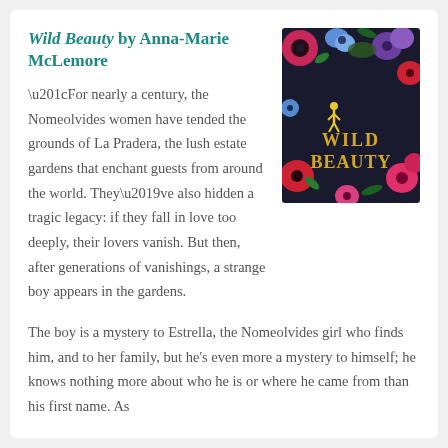Wild Beauty by Anna-Marie McLemore
[Figure (photo): Book cover of 'Wild Beauty' showing colorful flowers (red, pink, purple, blue) surrounding a dark background with golden text reading 'WILD BEAUTY' and a small silhouette of a person.]
“For nearly a century, the Nomeolvides women have tended the grounds of La Pradera, the lush estate gardens that enchant guests from around the world. They’ve also hidden a tragic legacy: if they fall in love too deeply, their lovers vanish. But then, after generations of vanishings, a strange boy appears in the gardens.
The boy is a mystery to Estrella, the Nomeolvides girl who finds him, and to her family, but he’s even more a mystery to himself; he knows nothing more about who he is or where he came from than his first name. As